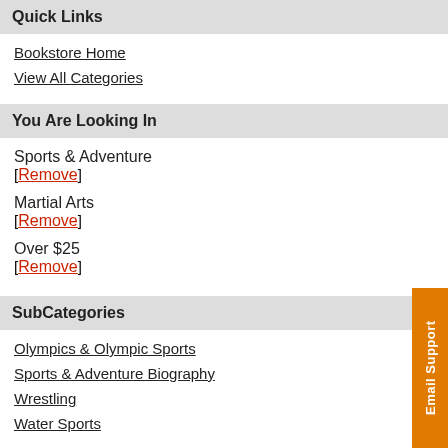Quick Links
Bookstore Home
View All Categories
You Are Looking In
Sports & Adventure [Remove]
Martial Arts [Remove]
Over $25 [Remove]
SubCategories
Olympics & Olympic Sports
Sports & Adventure Biography
Wrestling
Water Sports